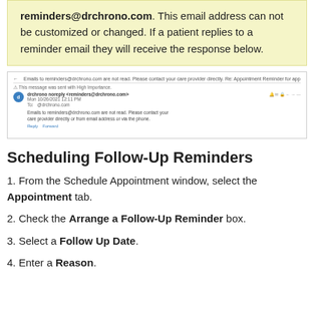reminders@drchrono.com. This email address can not be customized or changed. If a patient replies to a reminder email they will receive the response below.
[Figure (screenshot): Screenshot of an email client showing a reply to reminders@drchrono.com, with message body stating emails to reminders@drchrono.com are not read and to contact care provider directly.]
Scheduling Follow-Up Reminders
1. From the Schedule Appointment window, select the Appointment tab.
2. Check the Arrange a Follow-Up Reminder box.
3. Select a Follow Up Date.
4. Enter a Reason.